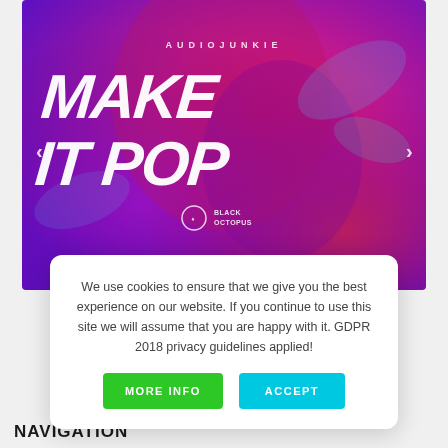[Figure (illustration): Hero banner showing a colorful music/DJ themed image with vibrant pink, purple and red tones. Text reads 'AUDIOJUNKIE' at top and 'MAKE IT POP' in large bold white brush lettering. Black Octopus logo visible. Navigation arrows on left and right sides.]
We use cookies to ensure that we give you the best experience on our website. If you continue to use this site we will assume that you are happy with it. GDPR 2018 privacy guidelines applied!
MORE INFO
ACCEPT
NAVIGATION